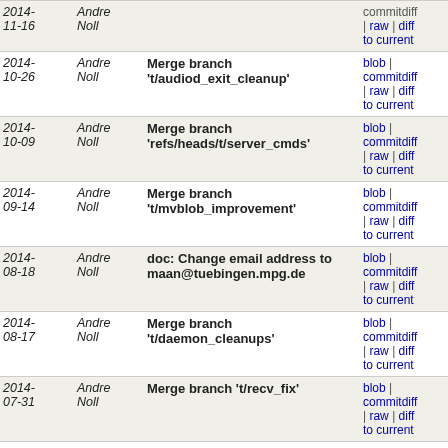| Date | Author | Commit message | Links |
| --- | --- | --- | --- |
| 2014-11-16 | Andre Noll |  | commitdiff | raw | diff to current |
| 2014-10-26 | Andre Noll | Merge branch 't/audiod_exit_cleanup' | blob | commitdiff | raw | diff to current |
| 2014-10-09 | Andre Noll | Merge branch 'refs/heads/t/server_cmds' | blob | commitdiff | raw | diff to current |
| 2014-09-14 | Andre Noll | Merge branch 't/mvblob_improvement' | blob | commitdiff | raw | diff to current |
| 2014-08-18 | Andre Noll | doc: Change email address to maan@tuebingen.mpg.de | blob | commitdiff | raw | diff to current |
| 2014-08-17 | Andre Noll | Merge branch 't/daemon_cleanups' | blob | commitdiff | raw | diff to current |
| 2014-07-31 | Andre Noll | Merge branch 't/recv_fix' | blob | commitdiff | raw | diff to current |
| 2014-07-23 | Andre Noll | Merge branch 't/sched_improvements' | blob | commitdiff | raw | diff to current |
| 2014-07-13 | Andre Noll | Merge branch 't/gui_sched' | blob | commitdiff | raw | diff to current |
| 2014-07-10 | Andre Noll | Merge branch 't/cpsi_improvement' | blob | commitdiff | raw | diff to current |
| 2014-06-26 | Andre Noll | Merge branch 't/bitstream_improvements' | blob | commitdiff |